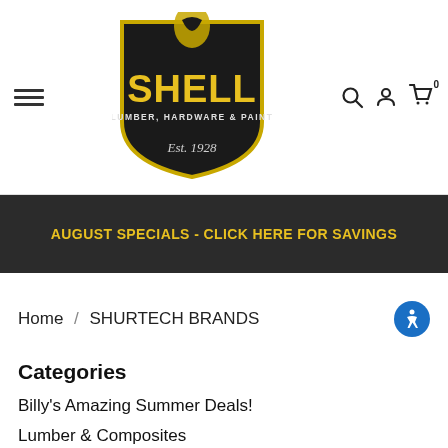[Figure (logo): Shell Lumber Hardware & Paint logo, Est. 1928, black shield shape with yellow text]
AUGUST SPECIALS - CLICK HERE FOR SAVINGS
Home / SHURTECH BRANDS
Categories
Billy's Amazing Summer Deals!
Lumber & Composites
Building Supplies